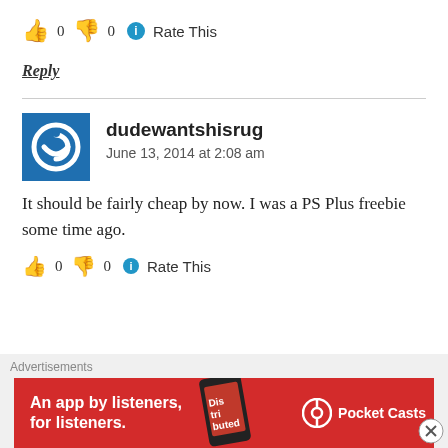👍 0 👎 0 ℹ Rate This
Reply
dudewantshisrug
June 13, 2014 at 2:08 am
It should be fairly cheap by now. I was a PS Plus freebie some time ago.
👍 0 👎 0 ℹ Rate This
Advertisements
An app by listeners, for listeners. Pocket Casts